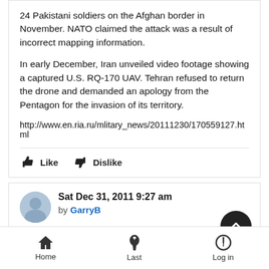24 Pakistani soldiers on the Afghan border in November. NATO claimed the attack was a result of incorrect mapping information.
In early December, Iran unveiled video footage showing a captured U.S. RQ-170 UAV. Tehran refused to return the drone and demanded an apology from the Pentagon for the invasion of its territory.
http://www.en.ria.ru/mlitary_news/20111230/170559127.html
Like   Dislike
Sat Dec 31, 2011 9:27 am
by GarryB
Its hovering performance will be useful, but the vibration caused